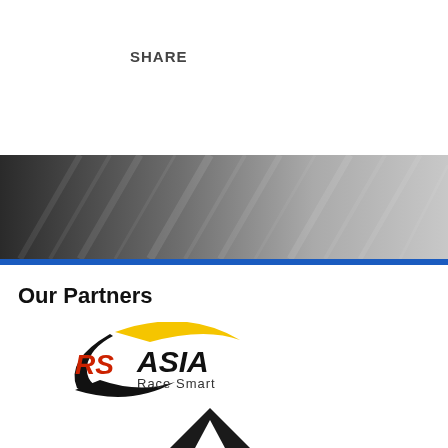SHARE
[Figure (illustration): Decorative banner with dark gray to light gray diagonal stripe pattern and a bold blue stripe at the bottom]
Our Partners
[Figure (logo): RS Asia Race Smart logo — stylized yellow and black swoosh with red RS letters and ASIA Race Smart text]
[Figure (logo): Partial logo — black triangle/mountain shape at the bottom of the page]